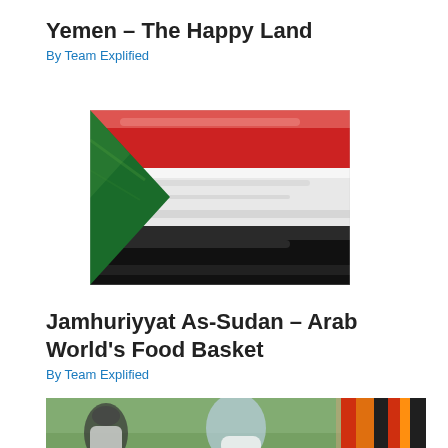Yemen – The Happy Land
By Team Explified
[Figure (photo): Waving flag of Sudan with red, white, black horizontal stripes and green triangle on the left]
Jamhuriyyat As-Sudan – Arab World's Food Basket
By Team Explified
[Figure (photo): Outdoor scene with people, one wearing a colorful red, orange, black striped garment, blurred background]